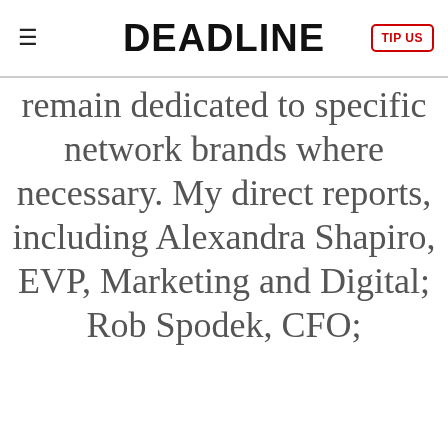DEADLINE | TIP US
remain dedicated to specific network brands where necessary. My direct reports, including Alexandra Shapiro, EVP, Marketing and Digital; Rob Spodek, CFO;